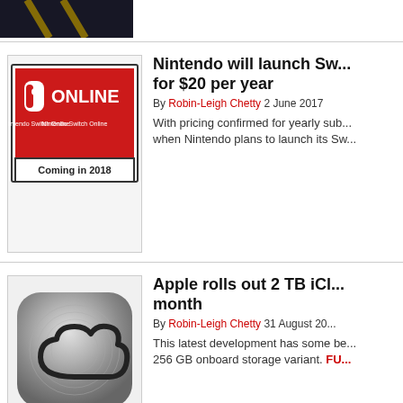[Figure (photo): Top cropped image showing dark background with yellow lines, partially visible]
[Figure (screenshot): Nintendo Switch Online logo on red background with text 'Coming in 2018']
Nintendo will launch Switch Online for $20 per year
By Robin-Leigh Chetty 2 June 2017
With pricing confirmed for yearly sub... when Nintendo plans to launch its Sw...
[Figure (photo): iCloud metallic icon with cloud symbol on rounded square background]
Apple rolls out 2 TB iCloud plan per month
By Robin-Leigh Chetty 31 August 20...
This latest development has some be... 256 GB onboard storage variant. FU...